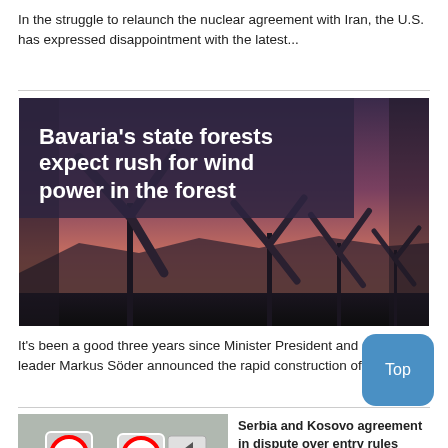In the struggle to relaunch the nuclear agreement with Iran, the U.S. has expressed disappointment with the latest...
[Figure (photo): Wind turbines silhouetted against a pink and purple sunset sky, with bold white text overlay reading 'Bavaria's state forests expect rush for wind power in the forest']
It's been a good three years since Minister President and CSU leader Markus Söder announced the rapid construction of at...
[Figure (photo): Road sign with speed limit 10 and an arrow, in a grey outdoor setting]
Serbia and Kosovo agreement in dispute over entry rules